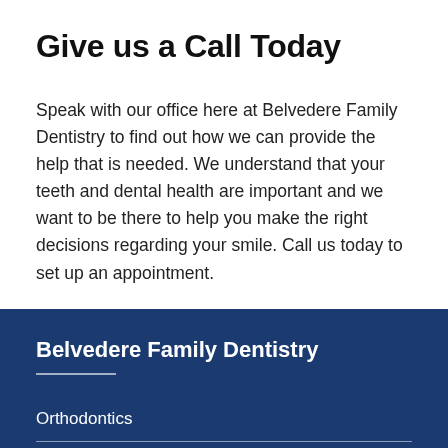Give us a Call Today
Speak with our office here at Belvedere Family Dentistry to find out how we can provide the help that is needed. We understand that your teeth and dental health are important and we want to be there to help you make the right decisions regarding your smile. Call us today to set up an appointment.
Belvedere Family Dentistry
Orthodontics
General